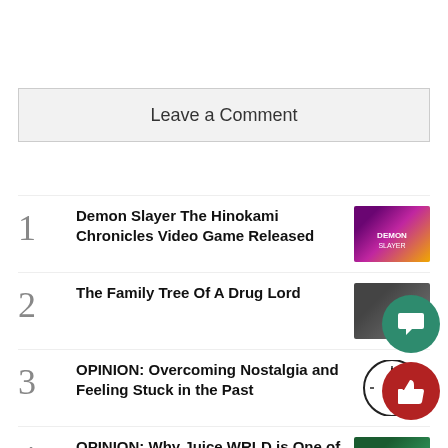Leave a Comment
1 Demon Slayer The Hinokami Chronicles Video Game Released
2 The Family Tree Of A Drug Lord
3 OPINION: Overcoming Nostalgia and Feeling Stuck in the Past
4 OPINION: Why Juice WRLD is One of the Best